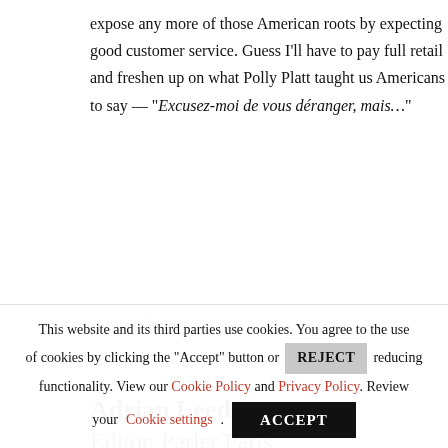expose any more of those American roots by expecting good customer service. Guess I'll have to pay full retail and freshen up on what Polly Platt taught us Americans to say — "Excusez-moi de vous déranger, mais…"
A la prochaine…
Adrian Leeds
Editor, Parler Paris
[Figure (logo): Circular stamp logo with 'PARIS' text at top, 'Adrian' text in red cursive in the center with an Eiffel Tower symbol, and wavy lines to the left]
This website and its third parties use cookies. You agree to the use of cookies by clicking the "Accept" button or REJECT reducing functionality. View our Cookie Policy and Privacy Policy. Review your Cookie settings.